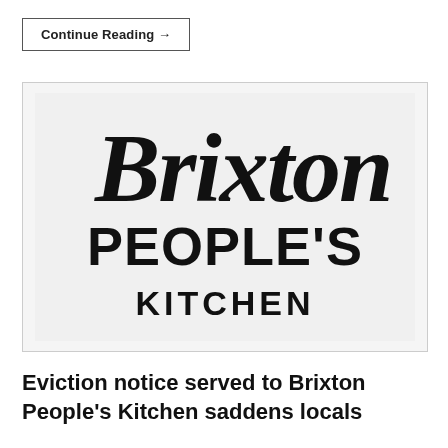Continue Reading →
[Figure (logo): Brixton People's Kitchen logo: stylized script 'Brixton' above bold 'PEOPLE'S' and 'KITCHEN' in sans-serif, black on white/light background]
Eviction notice served to Brixton People's Kitchen saddens locals